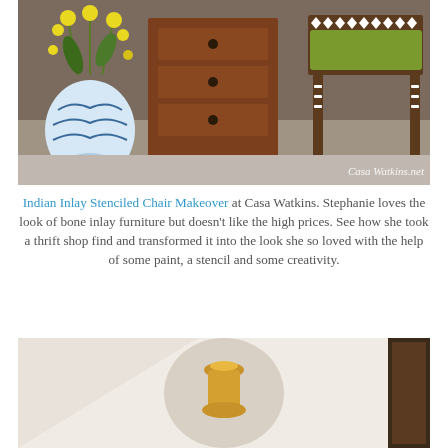[Figure (photo): Interior home decor photo showing a wooden chest of drawers with round black knobs, a stenciled chair with green cushion and Indian inlay-style white pattern, and a blue-and-white ceramic vase with yellow flowers. Text watermark 'Casa Watkins.net' in bottom right corner.]
Indian Inlay Stenciled Chair Makeover at Casa Watkins. Stephanie loves the look of bone inlay furniture but doesn't like the high prices. See how she took a thrift shop find and transformed it into the look she so loved with the help of some paint, a stencil and some creativity.
[Figure (photo): Interior home decor photo showing what appears to be a staircase or hallway with white walls, a gold/terracotta colored ceramic pot or vase mounted or placed in a niche, and a dark wooden frame visible on the right side.]